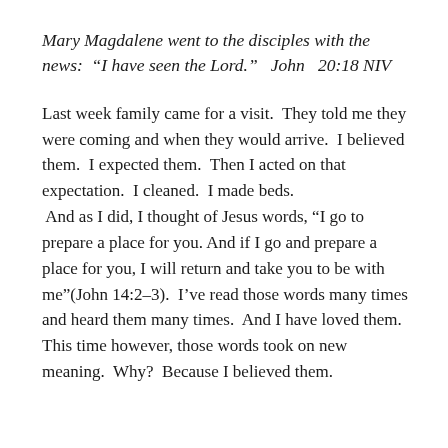Mary Magdalene went to the disciples with the news: “I have seen the Lord.”  John  20:18 NIV
Last week family came for a visit.  They told me they were coming and when they would arrive.  I believed them.  I expected them.  Then I acted on that expectation.  I cleaned.  I made beds.  And as I did, I thought of Jesus words, “I go to prepare a place for you. And if I go and prepare a place for you, I will return and take you to be with me”(John 14:2–3).  I’ve read those words many times and heard them many times.  And I have loved them.  This time however, those words took on new meaning.  Why?  Because I believed them.